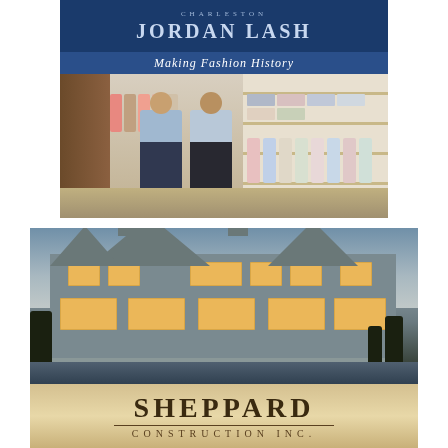[Figure (advertisement): Jordan Lash Charleston fashion store advertisement with dark blue header showing brand name and tagline 'Making Fashion History', below which is a photo of two men standing in a clothing boutique surrounded by shirts on shelves and racks]
[Figure (advertisement): Sheppard Construction Inc. advertisement featuring a large coastal-style luxury home photographed at dusk with warm glowing windows, below which is the company name 'SHEPPARD CONSTRUCTION INC.' on a tan/gold background]